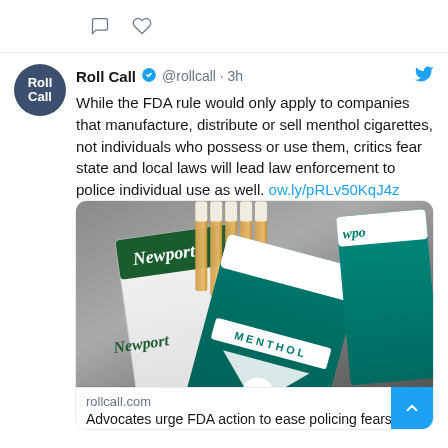[Figure (screenshot): Twitter/social media action icons: comment bubble and heart/like icon]
Roll Call @rollcall · 3h
While the FDA rule would only apply to companies that manufacture, distribute or sell menthol cigarettes, not individuals who possess or use them, critics fear state and local laws will lead law enforcement to police individual use as well. ow.ly/pRLv50KqJ4z
[Figure (photo): Photo of Newport menthol cigarette packs with cigarettes visible, showing the teal/green packaging with MENTHOL label]
rollcall.com
Advocates urge FDA action to ease policing fears in menthol ban - Roll Call